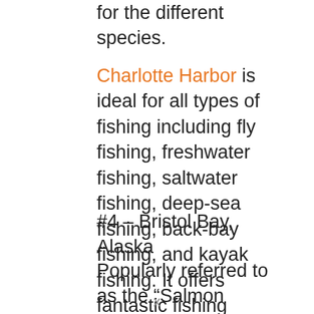for the different species.
Charlotte Harbor is ideal for all types of fishing including fly fishing, freshwater fishing, saltwater fishing, deep-sea fishing, back-bay fishing, and kayak fishing. It offers fantastic fishing opportunities all year. Therefore, make sure you add this spot to your list.
#4 – Bristol Bay, Alaska
Popularly referred to as the “Salmon